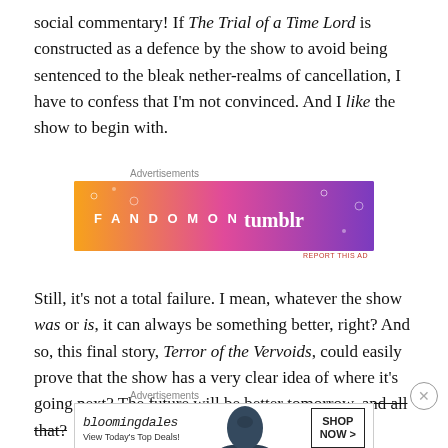social commentary! If The Trial of a Time Lord is constructed as a defence by the show to avoid being sentenced to the bleak nether-realms of cancellation, I have to confess that I'm not convinced. And I like the show to begin with.
[Figure (other): Fandom on Tumblr advertisement banner with orange-to-purple gradient background and white doodles]
Still, it's not a total failure. I mean, whatever the show was or is, it can always be something better, right? And so, this final story, Terror of the Vervoids, could easily prove that the show has a very clear idea of where it's going next? The future will be better tomorrow, and all that?
[Figure (other): Bloomingdale's advertisement banner with logo, woman in hat, and Shop Now button]